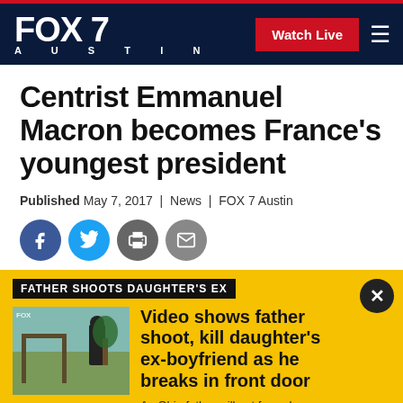FOX 7 AUSTIN | Watch Live
Centrist Emmanuel Macron becomes France's youngest president
Published May 7, 2017 | News | FOX 7 Austin
[Figure (infographic): Social sharing icons: Facebook, Twitter, Print, Email]
FATHER SHOOTS DAUGHTER'S EX
[Figure (photo): Video thumbnail showing outdoor scene, father shooting incident]
Video shows father shoot, kill daughter's ex-boyfriend as he breaks in front door
An Ohio father will not face charges after shooting and killing his daughter's ex-boyfriend as he broke through their front door.